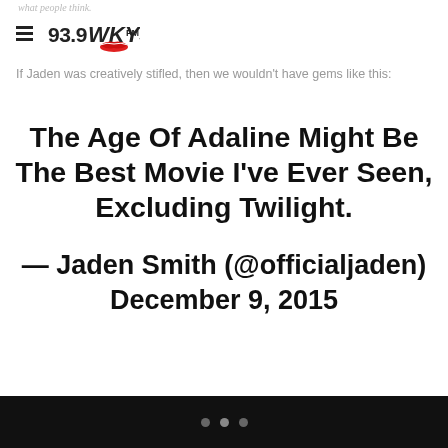what people think.
If Jaden was creatively stifled, then we wouldn't have gems like this:
The Age Of Adaline Might Be The Best Movie I've Ever Seen, Excluding Twilight.
— Jaden Smith (@officialjaden) December 9, 2015
• • •